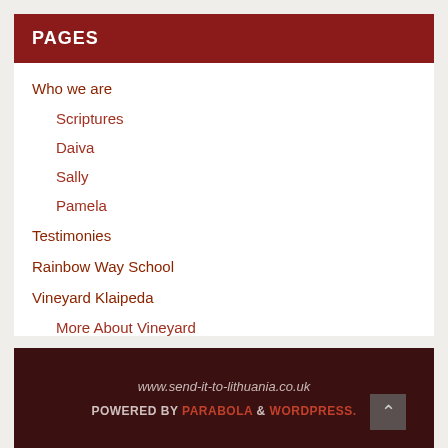PAGES
Who we are
Scriptures
Daiva
Sally
Pamela
Testimonies
Rainbow Way School
Vineyard Klaipeda
More About Vineyard
Music Lessons
START Prison Academy
Contact Us
www.send-it-to-lithuania.co.uk POWERED BY PARABOLA & WORDPRESS.